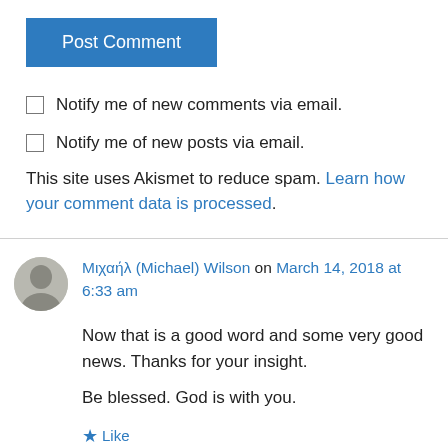Post Comment
Notify me of new comments via email.
Notify me of new posts via email.
This site uses Akismet to reduce spam. Learn how your comment data is processed.
Μιχαήλ (Michael) Wilson on March 14, 2018 at 6:33 am
Now that is a good word and some very good news. Thanks for your insight.

Be blessed. God is with you.